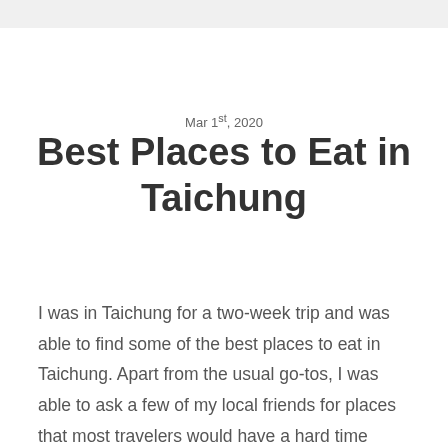Mar 1st, 2020
Best Places to Eat in Taichung
I was in Taichung for a two-week trip and was able to find some of the best places to eat in Taichung. Apart from the usual go-tos, I was able to ask a few of my local friends for places that most travelers would have a hard time finding.